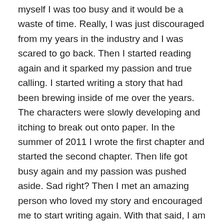myself I was too busy and it would be a waste of time. Really, I was just discouraged from my years in the industry and I was scared to go back. Then I started reading again and it sparked my passion and true calling. I started writing a story that had been brewing inside of me over the years. The characters were slowly developing and itching to break out onto paper. In the summer of 2011 I wrote the first chapter and started the second chapter. Then life got busy again and my passion was pushed aside. Sad right? Then I met an amazing person who loved my story and encouraged me to start writing again. With that said, I am in a happier place now. I am fulfilling my inner desire and passion to write. Thank you so much for your support! And I hope to keep the stories coming!!